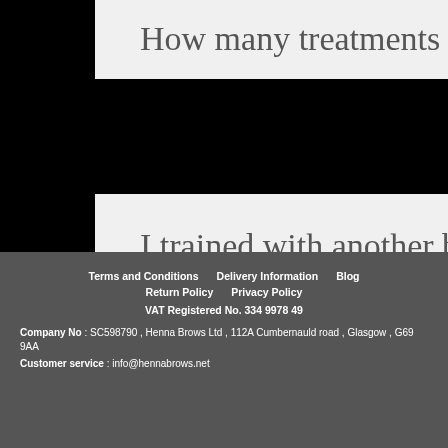How many treatments do I get from the kit?
I trained with another brand but would now like to try Henna Brows?
Terms and Conditions   Delivery Information   Blog   Return Policy   Privacy Policy   VAT Registered No. 334 9978 49   Company No : SC598790 , Henna Brows Ltd , 112A Cumbernauld road , Glasgow , G69 9AA   Customer service : info@hennabrows.net